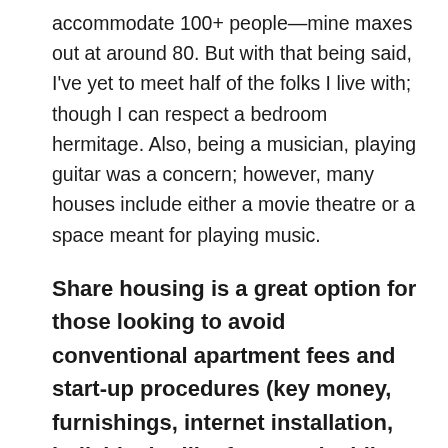accommodate 100+ people—mine maxes out at around 80. But with that being said, I've yet to meet half of the folks I live with; though I can respect a bedroom hermitage. Also, being a musician, playing guitar was a concern; however, many houses include either a movie theatre or a space meant for playing music.
Share housing is a great option for those looking to avoid conventional apartment fees and start-up procedures (key money, furnishings, internet installation, individual utility fees, etc.) while also being intimately